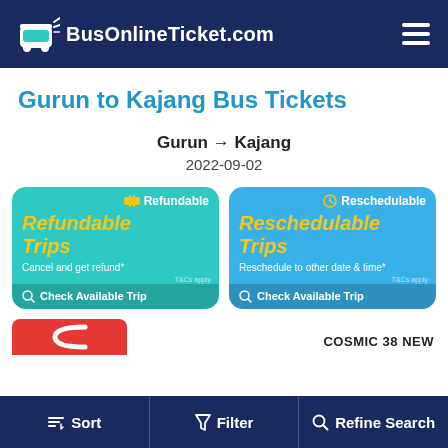BusOnlineTicket.com
Gurun to Kajang Bus Tickets
Gurun → Kajang
2022-09-02
[Figure (infographic): Refundable Trips promotional card (teal background). Badge: Refundable. Main title: Refundable Trips. Subtitle: Cancel and get refund*. Footer: Check Available Trip.]
[Figure (infographic): Reschedulable Trips promotional card (blue background). Badge: Reschedulable. Main title: Reschedulable Trips. Subtitle: Reschedule to other date & time*. Footer: Check Available Trip.]
COSMIC 38 NEW
Sort   Filter   Refine Search